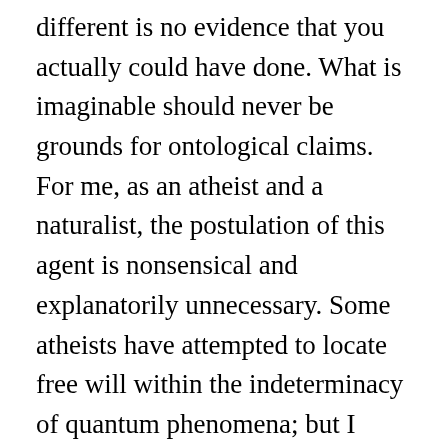different is no evidence that you actually could have done. What is imaginable should never be grounds for ontological claims. For me, as an atheist and a naturalist, the postulation of this agent is nonsensical and explanatorily unnecessary. Some atheists have attempted to locate free will within the indeterminacy of quantum phenomena; but I have to say to me this attempt to rescue a phenomena you might like to exist by placing it within the context of another phenomena not yet fully understood smacks of God-of-the-Gaps-ishness: it is using the incompleteness of our scientific knowledge to try and hang onto pre-scientific notions. None of this is to say that the language of free will is not useful, indeed necessary, to